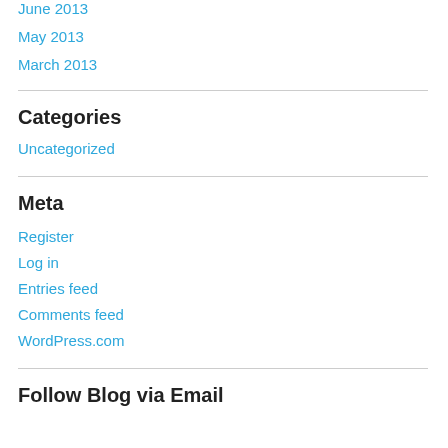June 2013
May 2013
March 2013
Categories
Uncategorized
Meta
Register
Log in
Entries feed
Comments feed
WordPress.com
Follow Blog via Email